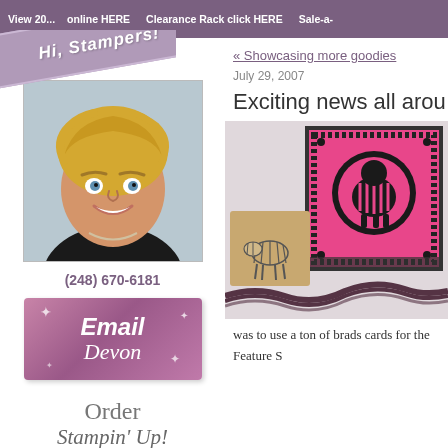View 20... online HERE   Clearance Rack click HERE   Sale-a-
[Figure (illustration): Diagonal ribbon banner with text 'Hi, Stampers!' in white italic font on purple/mauve background]
[Figure (photo): Portrait photo of a smiling blonde woman]
(248) 670-6181
[Figure (illustration): Pink/purple button graphic with sparkles reading 'Email Devon']
Order Stampin' Up!
« Showcasing more goodies
July 29, 2007
Exciting news all arou
[Figure (photo): Craft project photo showing a pink and black stamped card with a sheep design and a small brown paper package with a zebra stamp, plus pink and black ribbon]
was to use a ton of brads cards for the Feature S